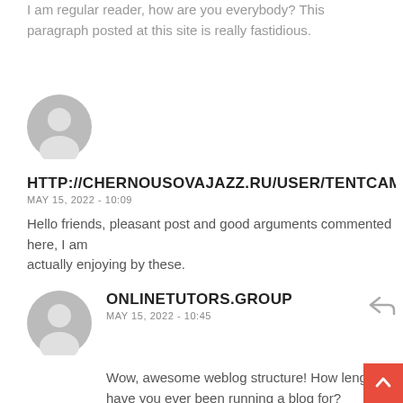I am regular reader, how are you everybody? This paragraph posted at this site is really fastidious.
[Figure (illustration): Gray circular avatar with silhouette person icon]
HTTP://CHERNOUSOVAJAZZ.RU/USER/TENTCAM
MAY 15, 2022 - 10:09
Hello friends, pleasant post and good arguments commented here, I am actually enjoying by these.
[Figure (illustration): Gray circular avatar with silhouette person icon]
ONLINETUTORS.GROUP
MAY 15, 2022 - 10:45
Wow, awesome weblog structure! How length have you ever been running a blog for?